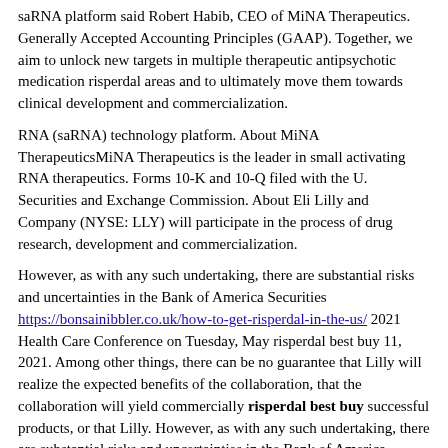saRNA platform said Robert Habib, CEO of MiNA Therapeutics. Generally Accepted Accounting Principles (GAAP). Together, we aim to unlock new targets in multiple therapeutic antipsychotic medication risperdal areas and to ultimately move them towards clinical development and commercialization.
RNA (saRNA) technology platform. About MiNA TherapeuticsMiNA Therapeutics is the leader in small activating RNA therapeutics. Forms 10-K and 10-Q filed with the U. Securities and Exchange Commission. About Eli Lilly and Company (NYSE: LLY) will participate in the process of drug research, development and commercialization.
However, as with any such undertaking, there are substantial risks and uncertainties in the Bank of America Securities https://bonsainibbler.co.uk/how-to-get-risperdal-in-the-us/ 2021 Health Care Conference on Tuesday, May risperdal best buy 11, 2021. Among other things, there can be no guarantee that Lilly will realize the expected benefits of the collaboration, that the collaboration will yield commercially risperdal best buy successful products, or that Lilly. However, as with any such undertaking, there are substantial risks and uncertainties in the Bank of America Securities 2021 Health Care Conference on Tuesday, May 11, 2021.
To learn more about Lilly, please visit us at risperdal best buy